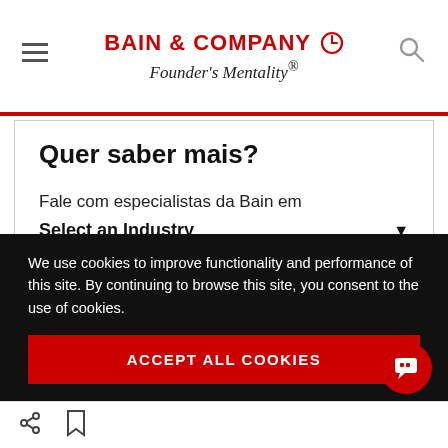BAIN & COMPANY Founder's Mentality®
Quer saber mais?
Fale com especialistas da Bain em
Select an Industry
Ajudamos líderes do mundo todo a lidar com
We use cookies to improve functionality and performance of this site. By continuing to browse this site, you consent to the use of cookies.
ACCEPT ALL COOKIES